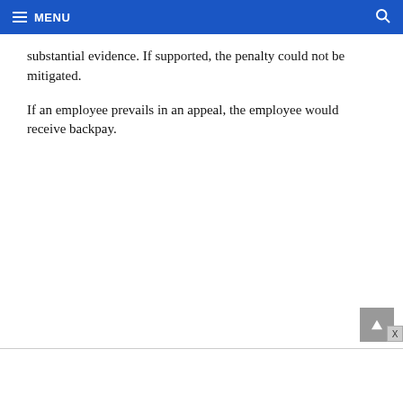MENU
substantial evidence. If supported, the penalty could not be mitigated.
If an employee prevails in an appeal, the employee would receive backpay.